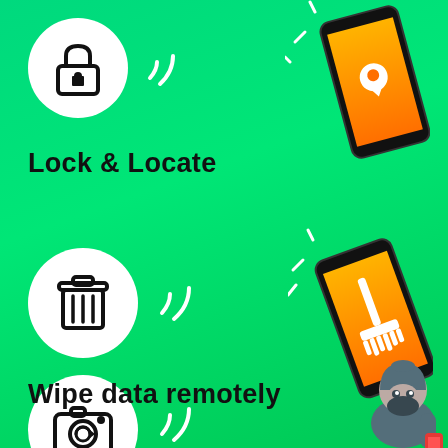[Figure (infographic): Green gradient background infographic showing mobile security features. Top section: white circle with lock icon and wifi arcs, orange phone with location pin icon top right. Text: Lock & Locate. Middle section: white circle with trash/delete icon and wifi arcs, orange phone with broom/wipe icon middle right. Text: Wipe data remotely. Bottom section: white circle with camera icon partially visible, thief character bottom right.]
Lock & Locate
Wipe data remotely